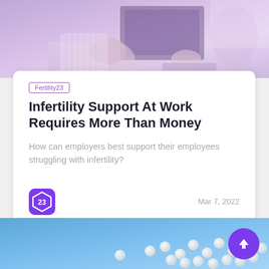[Figure (photo): Office scene with person working at computer, blurred purple/pink tones]
Fertility23
Infertility Support At Work Requires More Than Money
How can employers best support their employees struggling with infertility?
Mar 7, 2022
[Figure (photo): White pills/tablets scattered on blue background]